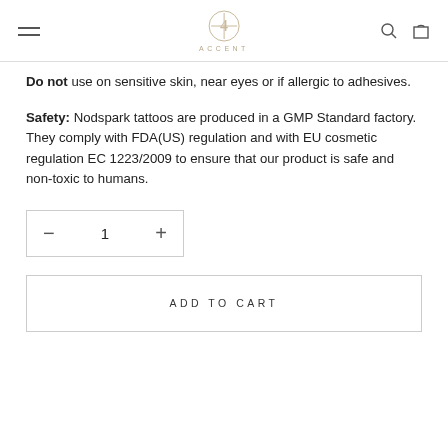ACCENT (logo with navigation menu, search, and cart icons)
Do not use on sensitive skin, near eyes or if allergic to adhesives.
Safety: Nodspark tattoos are produced in a GMP Standard factory. They comply with FDA(US) regulation and with EU cosmetic regulation EC 1223/2009 to ensure that our product is safe and non-toxic to humans.
— 1 + (quantity selector)
ADD TO CART